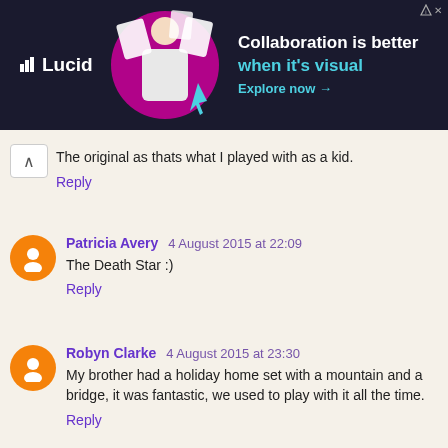[Figure (other): Lucid advertisement banner with logo, person, and text 'Collaboration is better when it's visual. Explore now →']
The original as thats what I played with as a kid.
Reply
Patricia Avery 4 August 2015 at 22:09
The Death Star :)
Reply
Robyn Clarke 4 August 2015 at 23:30
My brother had a holiday home set with a mountain and a bridge, it was fantastic, we used to play with it all the time.
Reply
Unknown 5 August 2015 at 06:41